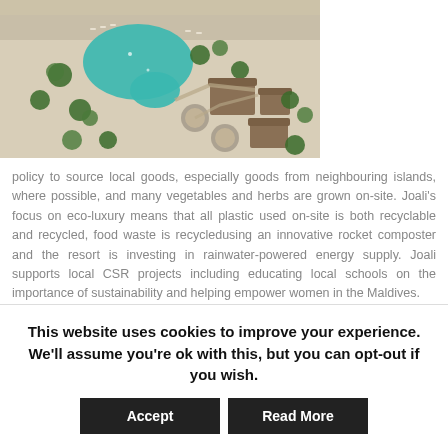[Figure (photo): Aerial view of a luxury resort with a teardrop-shaped swimming pool surrounded by palm trees and beach, with thatched-roof buildings]
policy to source local goods, especially goods from neighbouring islands, where possible, and many vegetables and herbs are grown on-site. Joali's focus on eco-luxury means that all plastic used on-site is both recyclable and recycled, food waste is recycledusing an innovative rocket composter and the resort is investing in rainwater-powered energy supply. Joali supports local CSR projects including educating local schools on the importance of sustainability and helping empower women in the Maldives.
This website uses cookies to improve your experience. We'll assume you're ok with this, but you can opt-out if you wish.
Accept
Read More